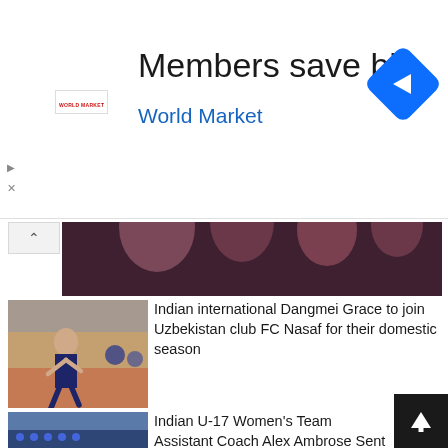[Figure (screenshot): Advertisement banner for World Market: 'Members save big / World Market' with blue navigation icon on right, small red World Market logo, play and close icons on left]
[Figure (photo): Partial photo of women's soccer/football players in dark maroon jerseys celebrating]
[Figure (photo): Photo of Indian footballer Dangmei Grace running on a track in dark jersey]
Indian international Dangmei Grace to join Uzbekistan club FC Nasaf for their domestic season
[Figure (photo): Photo of Indian U-17 Women's Team lined up on a football field in blue jerseys]
Indian U-17 Women’s Team Assistant Coach Alex Ambrose Sent Home For Alleged Misconduct
INDIAN MEN’S NT
[Figure (photo): Photo of Indian men's football team lined up on a field]
Vietnam to host India and Singapore for friendly tournament in September